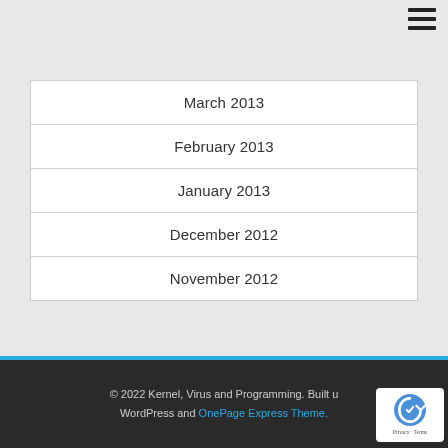[Figure (other): Hamburger menu icon (three horizontal bars) in top right corner]
| March 2013 |
| February 2013 |
| January 2013 |
| December 2012 |
| November 2012 |
© 2022 Kernel, Virus and Programming. Built using WordPress and OnePage Express Theme.